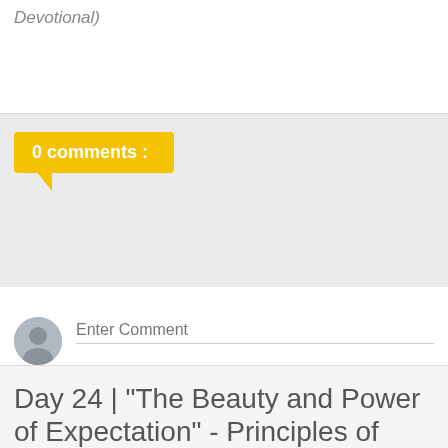Devotional)
0 comments :
Enter Comment
Day 24 | "The Beauty and Power of Expectation" - Principles of Encouragement 30 Day Devotional